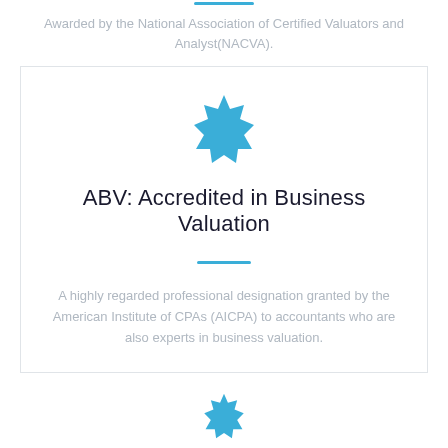[Figure (illustration): Blue decorative horizontal divider line at the top of the page]
Awarded by the National Association of Certified Valuators and Analyst(NACVA).
[Figure (illustration): Blue star/badge seal icon inside a bordered card]
ABV: Accredited in Business Valuation
[Figure (illustration): Blue decorative horizontal divider line within the card]
A highly regarded professional designation granted by the American Institute of CPAs (AICPA) to accountants who are also experts in business valuation.
[Figure (illustration): Blue star/badge seal icon at the bottom of the page, partially visible]